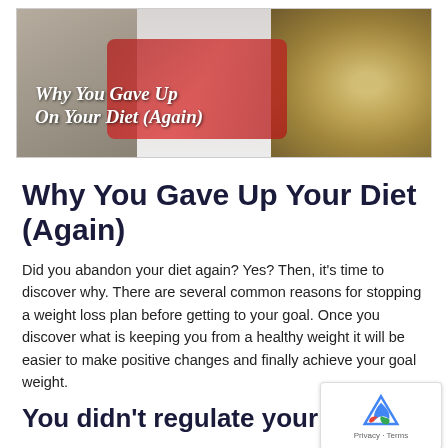[Figure (photo): Hero image showing a person in a red top reaching into a bowl of snacks/food, with text overlay reading 'Why You Gave Up On Your Diet (Again)']
Why You Gave Up Your Diet (Again)
Did you abandon your diet again? Yes? Then, it's time to discover why. There are several common reasons for stopping a weight loss plan before getting to your goal. Once you discover what is keeping you from a healthy weight it will be easier to make positive changes and finally achieve your goal weight.
You didn't regulate your